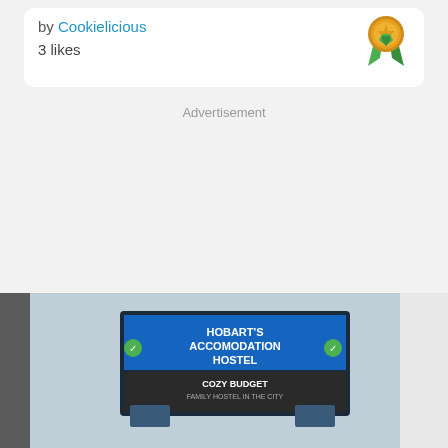by Cookielicious
3 likes
[Figure (illustration): Award ribbon icon — gold medal with green ribbons]
Advertisement
[Figure (photo): Photo of Hobart's Accomodation Hostel building exterior with a sign reading HOBART'S ACCOMODATION HOSTEL, COZY BUDGET, FAMILY HOSTEL IN THE CITY]